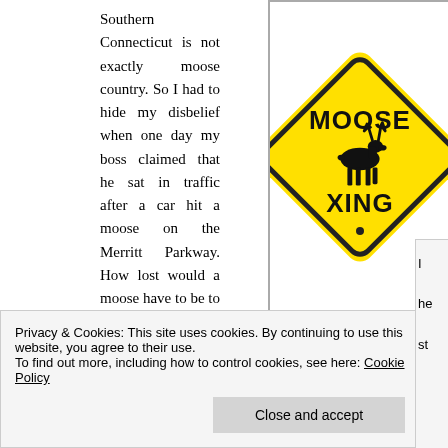Southern Connecticut is not exactly moose country. So I had to hide my disbelief when one day my boss claimed that he sat in traffic after a car hit a moose on the Merritt Parkway. How lost would a moose have to be to find itself in suburban Connecticut? Turns out, my boss told the truth. I welcomed any distraction from tha
[Figure (photo): Yellow diamond-shaped road sign reading MOOSE XING with a black moose silhouette]
Privacy & Cookies: This site uses cookies. By continuing to use this website, you agree to their use.
To find out more, including how to control cookies, see here: Cookie Policy
[Close and accept]